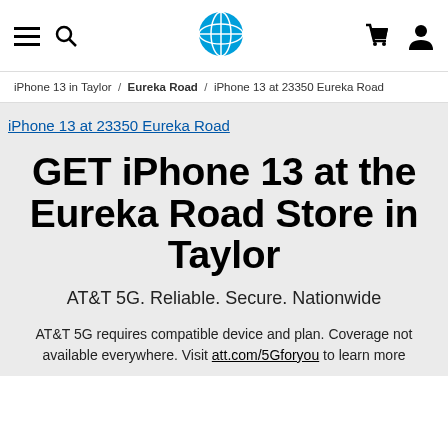AT&T navigation bar with hamburger menu, search, AT&T globe logo, cart, and user icon
iPhone 13 in Taylor / Eureka Road / iPhone 13 at 23350 Eureka Road
iPhone 13 at 23350 Eureka Road
GET iPhone 13 at the Eureka Road Store in Taylor
AT&T 5G. Reliable. Secure. Nationwide
AT&T 5G requires compatible device and plan. Coverage not available everywhere. Visit att.com/5Gforyou to learn more